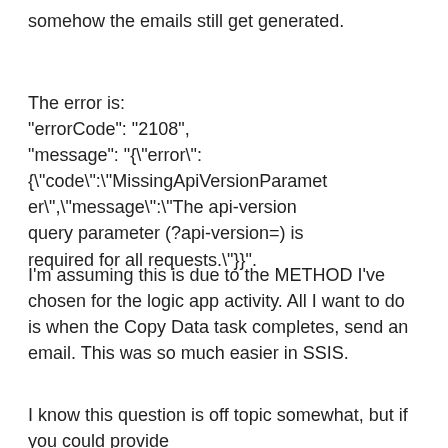somehow the emails still get generated.
The error is:
"errorCode": "2108",
"message": "{\"error\": {\"code\":\"MissingApiVersionParameter\",\"message\":\"The api-version query parameter (?api-version=) is required for all requests.\"}}",
I'm assuming this is due to the METHOD I've chosen for the logic app activity. All I want to do is when the Copy Data task completes, send an email. This was so much easier in SSIS.
I know this question is off topic somewhat, but if you could provide